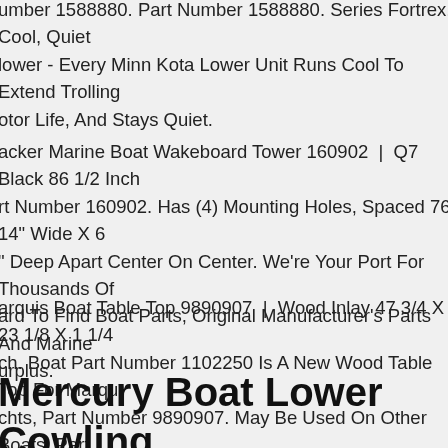umber 1588880. Part Number 1588880. Series Fortrex. Cool, Quiet lower - Every Minn Kota Lower Unit Runs Cool To Extend Trolling otor Life, And Stays Quiet.
acker Marine Boat Wakeboard Tower 160902 | Q7 Black 86 1/2 Inch rt Number 160902. Has (4) Mounting Holes, Spaced 76 14" Wide X 6" Deep Apart Center On Center. We're Your Port For Thousands Of ard To Find Boat Parts, Original Manufacturer's Parts And Marine urplus.
arquis Boat Table Top 9890907 | Wood Inlay 47 3/4 X 23 1/8 X 1 1/4 ch. Boat Part Number 1102250 Is A New Wood Table Top For Marqu chts, Part Number 9890907. May Be Used On Other Boats. Part umber 9890907. Features (3) Contrasting Inlay Panels With An tricate Black Outlining Inlay.
Mercury Boat Lower Cowling m0142217 | 34 1/8 X 29 Inch Black thd)